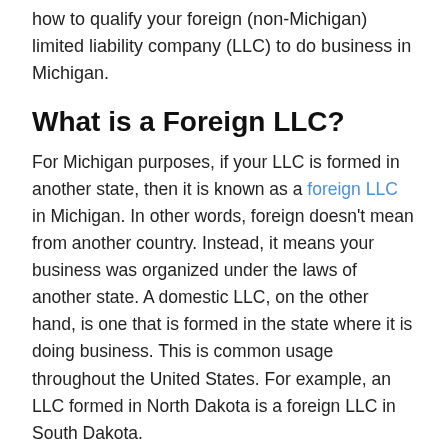how to qualify your foreign (non-Michigan) limited liability company (LLC) to do business in Michigan.
What is a Foreign LLC?
For Michigan purposes, if your LLC is formed in another state, then it is known as a foreign LLC in Michigan. In other words, foreign doesn't mean from another country. Instead, it means your business was organized under the laws of another state. A domestic LLC, on the other hand, is one that is formed in the state where it is doing business. This is common usage throughout the United States. For example, an LLC formed in North Dakota is a foreign LLC in South Dakota.
Transacting Business in